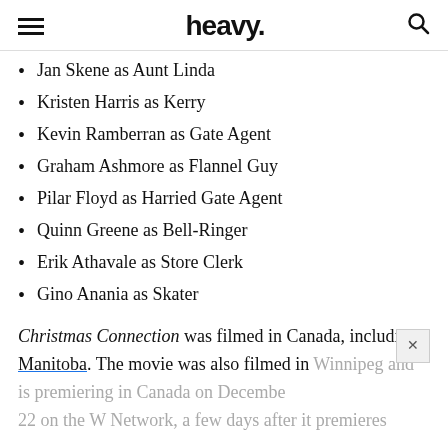heavy.
Jan Skene as Aunt Linda
Kristen Harris as Kerry
Kevin Ramberran as Gate Agent
Graham Ashmore as Flannel Guy
Pilar Floyd as Harried Gate Agent
Quinn Greene as Bell-Ringer
Erik Athavale as Store Clerk
Gino Anania as Skater
Christmas Connection was filmed in Canada, including Manitoba. The movie was also filmed in Winnipeg and is premiering in Canada on December 22 on the W Network, a few days after it premieres